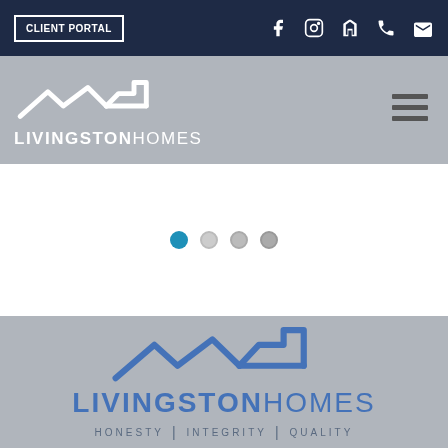CLIENT PORTAL
[Figure (logo): Livingston Homes white logo with roofline icon on gray navigation bar]
[Figure (other): Slideshow carousel indicator dots, first dot active in blue, three gray dots]
[Figure (logo): Livingston Homes blue logo with roofline icon on gray background, with tagline HONESTY | INTEGRITY | QUALITY]